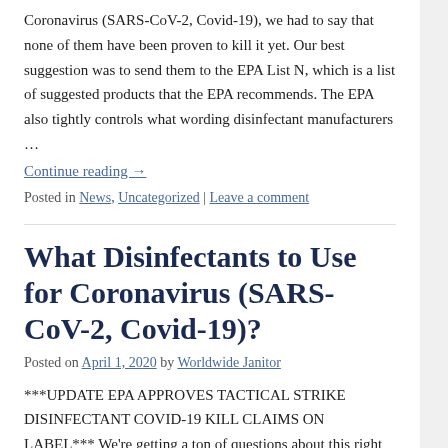Coronavirus (SARS-CoV-2, Covid-19), we had to say that none of them have been proven to kill it yet. Our best suggestion was to send them to the EPA List N, which is a list of suggested products that the EPA recommends. The EPA also tightly controls what wording disinfectant manufacturers …
Continue reading →
Posted in News, Uncategorized | Leave a comment
What Disinfectants to Use for Coronavirus (SARS-CoV-2, Covid-19)?
Posted on April 1, 2020 by Worldwide Janitor
***UPDATE EPA APPROVES TACTICAL STRIKE DISINFECTANT COVID-19 KILL CLAIMS ON LABEL*** We're getting a ton of questions about this right now, so I'm going to keep this post short and to the point. There are currently no disinfectants that are allowed to legally make kill claims against SARS-CoV-2, the novel coronavirus that causes the disease COVID-19,